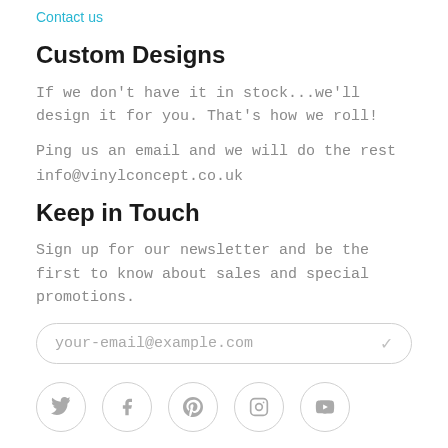Contact us
Custom Designs
If we don't have it in stock...we'll design it for you. That's how we roll!
Ping us an email and we will do the rest
info@vinylconcept.co.uk
Keep in Touch
Sign up for our newsletter and be the first to know about sales and special promotions.
your-email@example.com
[Figure (other): Social media icons row: Twitter, Facebook, Pinterest, Instagram, YouTube — each in a light circle border]